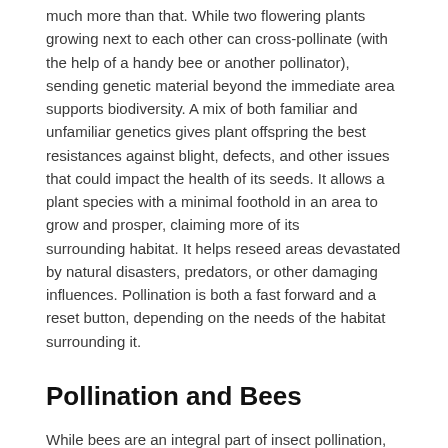much more than that. While two flowering plants growing next to each other can cross-pollinate (with the help of a handy bee or another pollinator), sending genetic material beyond the immediate area supports biodiversity. A mix of both familiar and unfamiliar genetics gives plant offspring the best resistances against blight, defects, and other issues that could impact the health of its seeds. It allows a plant species with a minimal foothold in an area to grow and prosper, claiming more of its surrounding habitat. It helps reseed areas devastated by natural disasters, predators, or other damaging influences. Pollination is both a fast forward and a reset button, depending on the needs of the habitat surrounding it.
Pollination and Bees
While bees are an integral part of insect pollination, they also rely on pollination to survive. Flowering plants have nectar as a direct result of their need to pollinate – nectar entices bees to gather it, getting covered in pollen in the process. In addition to this passive transfer of pollen, a certain percentage of each hive's worker bees are dedicated to actively collecting pollen to bring back to the